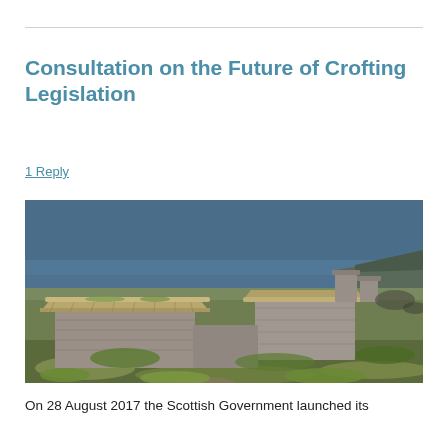Consultation on the Future of Crofting Legislation
1 Reply
[Figure (photo): Traditional Scottish stone and thatched-roof croft buildings on a coastal hillside with the sea and sky in the background. Stone walls and rough grass in the foreground.]
On 28 August 2017 the Scottish Government launched its